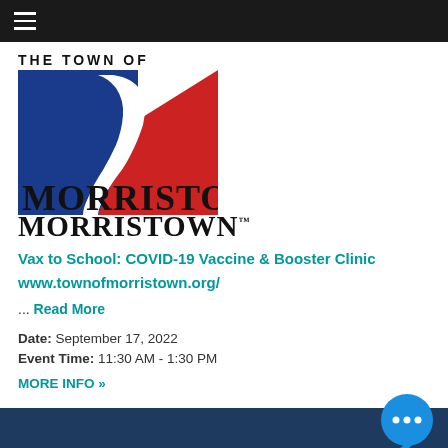Navigation bar with hamburger menu
[Figure (logo): The Town of Morristown logo with blue and red shield graphic and text 'THE TOWN OF MORRISTOWN']
Vax to School: COVID-19 Vaccine & Booster Clinic
www.townofmorristown.org/
... Read More
Date: September 17, 2022
Event Time: 11:30 AM - 1:30 PM
MORE INFO »
[Figure (logo): Dark blue footer bar with Morristown logo partially visible at bottom and a blue chat bubble icon]
[Figure (illustration): Partial Morristown logo visible at very bottom of page]